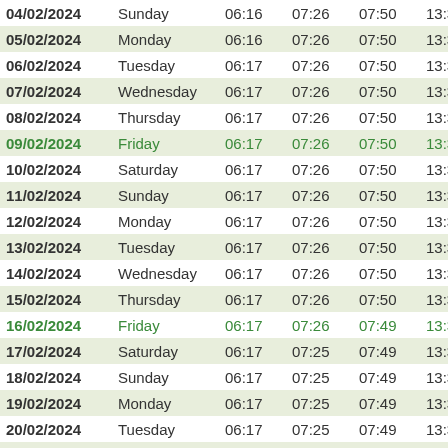| Date | Day | Col3 | Col4 | Col5 | Col6 | Col7 |
| --- | --- | --- | --- | --- | --- | --- |
| 04/02/2024 | Sunday | 06:16 | 07:26 | 07:50 | 13:30 | 1 |
| 05/02/2024 | Monday | 06:16 | 07:26 | 07:50 | 13:30 | 1 |
| 06/02/2024 | Tuesday | 06:17 | 07:26 | 07:50 | 13:30 | 1 |
| 07/02/2024 | Wednesday | 06:17 | 07:26 | 07:50 | 13:30 | 1 |
| 08/02/2024 | Thursday | 06:17 | 07:26 | 07:50 | 13:30 | 1 |
| 09/02/2024 | Friday | 06:17 | 07:26 | 07:50 | 13:30 | 1 |
| 10/02/2024 | Saturday | 06:17 | 07:26 | 07:50 | 13:31 | 1 |
| 11/02/2024 | Sunday | 06:17 | 07:26 | 07:50 | 13:31 | 1 |
| 12/02/2024 | Monday | 06:17 | 07:26 | 07:50 | 13:31 | 1 |
| 13/02/2024 | Tuesday | 06:17 | 07:26 | 07:50 | 13:31 | 1 |
| 14/02/2024 | Wednesday | 06:17 | 07:26 | 07:50 | 13:30 | 1 |
| 15/02/2024 | Thursday | 06:17 | 07:26 | 07:50 | 13:30 | 1 |
| 16/02/2024 | Friday | 06:17 | 07:26 | 07:49 | 13:30 | 1 |
| 17/02/2024 | Saturday | 06:17 | 07:25 | 07:49 | 13:30 | 1 |
| 18/02/2024 | Sunday | 06:17 | 07:25 | 07:49 | 13:30 | 1 |
| 19/02/2024 | Monday | 06:17 | 07:25 | 07:49 | 13:30 | 1 |
| 20/02/2024 | Tuesday | 06:17 | 07:25 | 07:49 | 13:30 | 1 |
| 21/02/2024 | Wednesday | 06:17 | 07:25 | 07:49 | 13:30 | 1 |